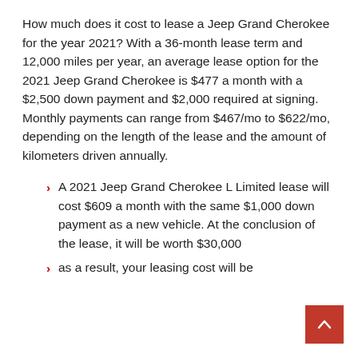How much does it cost to lease a Jeep Grand Cherokee for the year 2021? With a 36-month lease term and 12,000 miles per year, an average lease option for the 2021 Jeep Grand Cherokee is $477 a month with a $2,500 down payment and $2,000 required at signing. Monthly payments can range from $467/mo to $622/mo, depending on the length of the lease and the amount of kilometers driven annually.
A 2021 Jeep Grand Cherokee L Limited lease will cost $609 a month with the same $1,000 down payment as a new vehicle. At the conclusion of the lease, it will be worth $30,000
as a result, your leasing cost will be